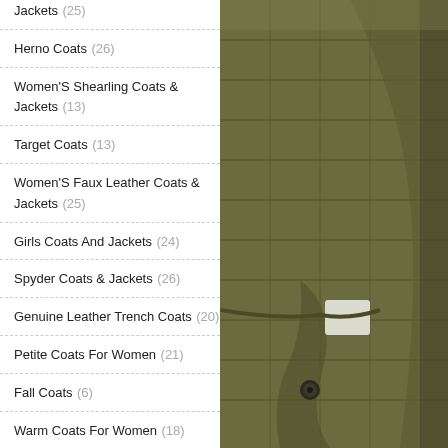Jackets (25)
Herno Coats (26)
Women'S Shearling Coats & Jackets (13)
Target Coats (13)
Women'S Faux Leather Coats & Jackets (25)
Girls Coats And Jackets (24)
Spyder Coats & Jackets (26)
Genuine Leather Trench Coats (20)
Petite Coats For Women (21)
Fall Coats (6)
Warm Coats For Women (18)
Shein Coats (4)
Carhartt Men'S Coats & Jackets (27)
Women'S Down Coats & Jackets (20)
Camouflage Coats & Jackets (20)
[Figure (photo): Close-up photo of an olive/khaki green quilted military-style jacket with metal snap buttons and belt detail at the waist]